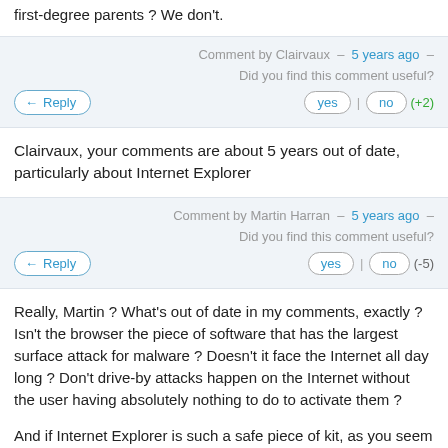first-degree parents ? We don't.
Comment by Clairvaux — 5 years ago — Did you find this comment useful?
Clairvaux, your comments are about 5 years out of date, particularly about Internet Explorer
Comment by Martin Harran — 5 years ago — Did you find this comment useful?
Really, Martin ? What's out of date in my comments, exactly ? Isn't the browser the piece of software that has the largest surface attack for malware ? Doesn't it face the Internet all day long ? Don't drive-by attacks happen on the Internet without the user having absolutely nothing to do to activate them ?
And if Internet Explorer is such a safe piece of kit, as you seem to imply, why does long-time Windows